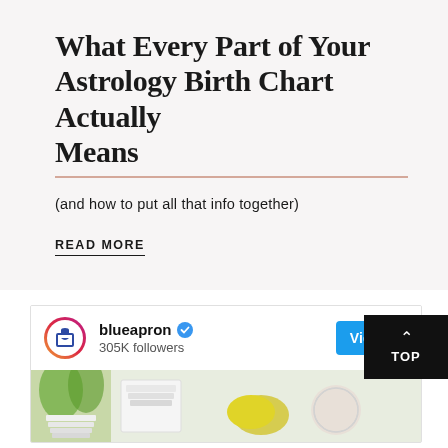What Every Part of Your Astrology Birth Chart Actually Means
(and how to put all that info together)
READ MORE
[Figure (screenshot): Instagram profile card for blueapron showing 305K followers, a View profile button, and a food/kitchen image at the bottom.]